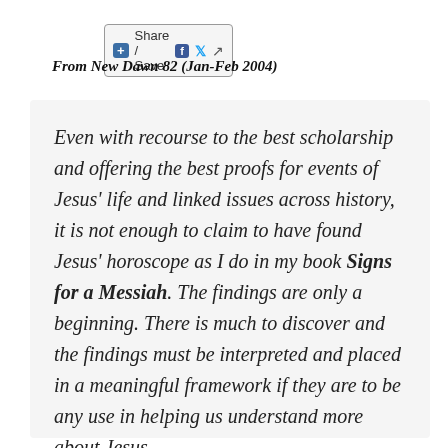Share / Save
From New Dawn 82 (Jan-Feb 2004)
Even with recourse to the best scholarship and offering the best proofs for events of Jesus' life and linked issues across history, it is not enough to claim to have found Jesus' horoscope as I do in my book Signs for a Messiah. The findings are only a beginning. There is much to discover and the findings must be interpreted and placed in a meaningful framework if they are to be any use in helping us understand more about Jesus.

Modern theology, much of it rationalistic and